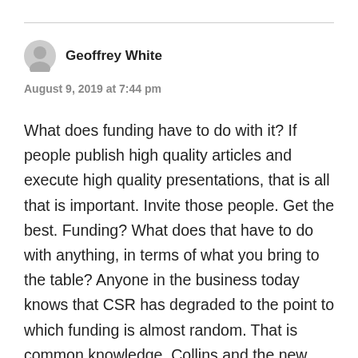Geoffrey White
August 9, 2019 at 7:44 pm
What does funding have to do with it? If people publish high quality articles and execute high quality presentations, that is all that is important. Invite those people. Get the best. Funding? What does that have to do with anything, in terms of what you bring to the table? Anyone in the business today knows that CSR has degraded to the point to which funding is almost random. That is common knowledge. Collins and the new